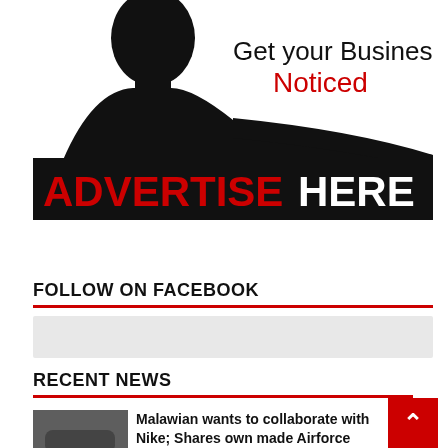[Figure (illustration): Advertise Here banner: silhouette of a businessman in suit with text 'Get your Business Noticed' in black and red, and 'ADVERTISE HERE' in large bold red and white text on black background.]
FOLLOW ON FACEBOOK
[Figure (other): Facebook follow widget placeholder box (grey rectangle)]
RECENT NEWS
[Figure (photo): Thumbnail photo for news article about Malawian and Nike shoes]
Malawian wants to collaborate with Nike; Shares own made Airforce